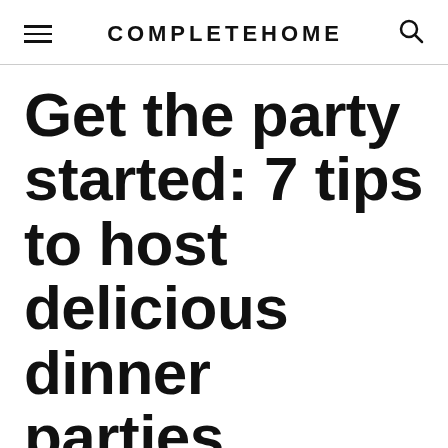COMPLETEHOME
Get the party started: 7 tips to host delicious dinner parties without the hassle